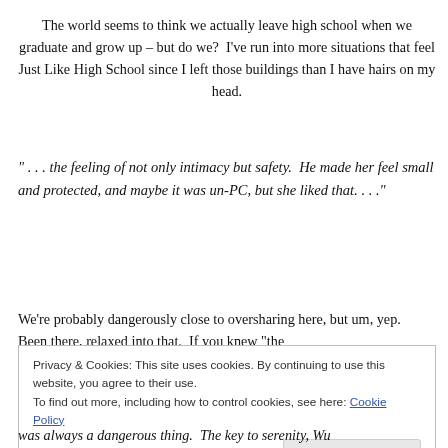The world seems to think we actually leave high school when we graduate and grow up – but do we?  I've run into more situations that feel Just Like High School since I left those buildings than I have hairs on my head.
" . . . the feeling of not only intimacy but safety.  He made her feel small and protected, and maybe it was un-PC, but she liked that. . . ."
We're probably dangerously close to oversharing here, but um, yep.  Been there, relaxed into that.  If you knew "the
Privacy & Cookies: This site uses cookies. By continuing to use this website, you agree to their use.
To find out more, including how to control cookies, see here: Cookie Policy
was always a dangerous thing.  The key to serenity, Wu